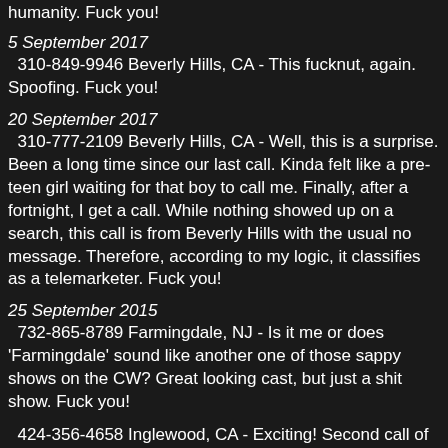humanity.  Fuck you!
5 September 2017
310-849-9946  Beverly Hills, CA - This fucknut, again.  Spoofing.  Fuck you!
20 September 2017
310-777-2109  Beverly Hills, CA - Well, this is a surprise.  Been a long time since our last call.  Kinda felt like a pre-teen girl waiting for that boy to call me.   Finally, after a fortnight, I get a call.  While nothing showed up on a search, this call is from Beverly Hills with the usual no message.  Therefore, according to my logic, it classifies as a telemarketer.  Fuck you!
25 September 2015
732-865-8789  Farmingdale, NJ - Is it me or does 'Farmingdale' sound like another one of those sappy shows on the CW?  Great looking cast, but just a shit show.  Fuck you!
424-356-4658  Inglewood, CA - Exciting!  Second call of